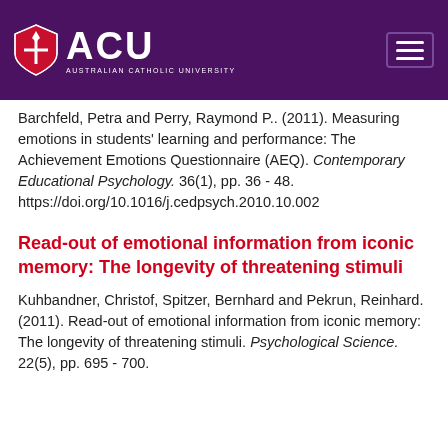[Figure (logo): Australian Catholic University (ACU) logo with shield and text on purple header background]
Barchfeld, Petra and Perry, Raymond P.. (2011). Measuring emotions in students' learning and performance: The Achievement Emotions Questionnaire (AEQ). Contemporary Educational Psychology. 36(1), pp. 36 - 48. https://doi.org/10.1016/j.cedpsych.2010.10.002
Read-out of emotional information from iconic memory: The longevity of threatening stimuli
Kuhbandner, Christof, Spitzer, Bernhard and Pekrun, Reinhard. (2011). Read-out of emotional information from iconic memory: The longevity of threatening stimuli. Psychological Science. 22(5), pp. 695 - 700.